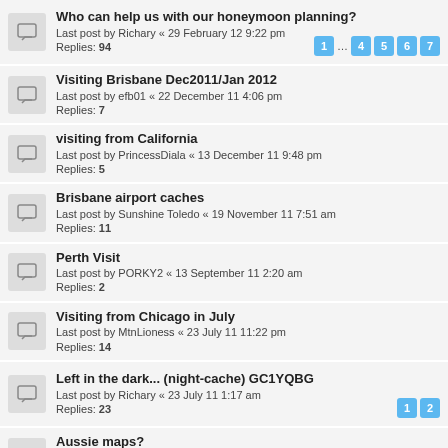Who can help us with our honeymoon planning?
Last post by Richary « 29 February 12 9:22 pm
Replies: 94
Pages: 1 ... 4 5 6 7
Visiting Brisbane Dec2011/Jan 2012
Last post by efb01 « 22 December 11 4:06 pm
Replies: 7
visiting from California
Last post by PrincessDiala « 13 December 11 9:48 pm
Replies: 5
Brisbane airport caches
Last post by Sunshine Toledo « 19 November 11 7:51 am
Replies: 11
Perth Visit
Last post by PORKY2 « 13 September 11 2:20 am
Replies: 2
Visiting from Chicago in July
Last post by MtnLioness « 23 July 11 11:22 pm
Replies: 14
Left in the dark... (night-cache) GC1YQBG
Last post by Richary « 23 July 11 1:17 am
Replies: 23
Pages: 1 2
Aussie maps?
Last post by AKiteFlier « 01 July 11 11:46 pm
Replies: 7
Cairns, Sydney or Melbourne?
Last post by AKiteFlier « 28 June 11 11:38 am
Replies: 10